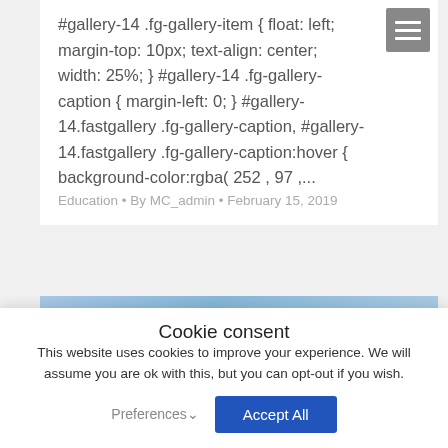#gallery-14 .fg-gallery-item { float: left; margin-top: 10px; text-align: center; width: 25%; } #gallery-14 .fg-gallery-caption { margin-left: 0; } #gallery-14.fastgallery .fg-gallery-caption, #gallery-14.fastgallery .fg-gallery-caption:hover { background-color:rgba( 252 , 97 ,...
Education • By MC_admin • February 15, 2019
[Figure (photo): Blue sky/landscape photo strip, partially visible behind cookie consent overlay]
Cookie consent
This website uses cookies to improve your experience. We will assume you are ok with this, but you can opt-out if you wish.
Preferences  Accept All